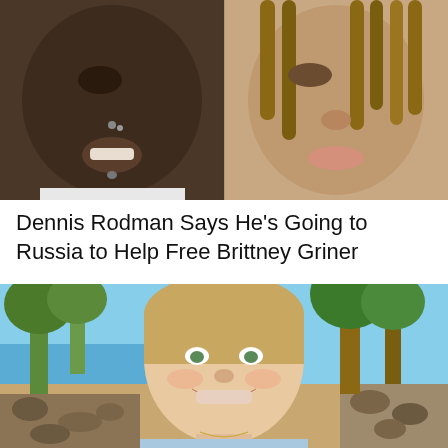[Figure (photo): Close-up photo of two people side by side: on the left is a dark-skinned man with piercings on his nose and chin, wearing a white shirt; on the right is a person with light brown dreadlocks.]
Dennis Rodman Says He’s Going to Russia to Help Free Brittney Griner
[Figure (photo): Outdoor photo of a smiling white woman with short blonde hair wearing a light blue tank top and a necklace, with tropical trees and ocean in the background.]